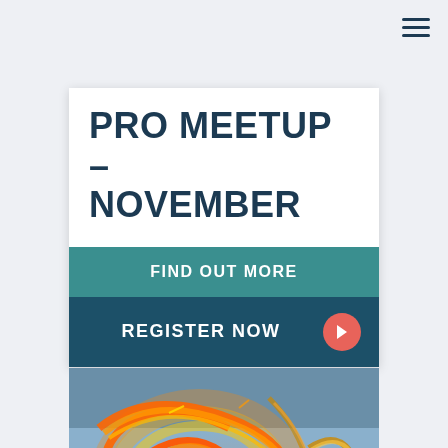[Figure (other): Hamburger menu icon — three horizontal dark navy lines in top right corner]
PRO MEETUP – NOVEMBER
FIND OUT MORE
REGISTER NOW
[Figure (photo): Long exposure photo of fairground ride with bright orange/yellow light trails forming spiral patterns against a blue sky background]